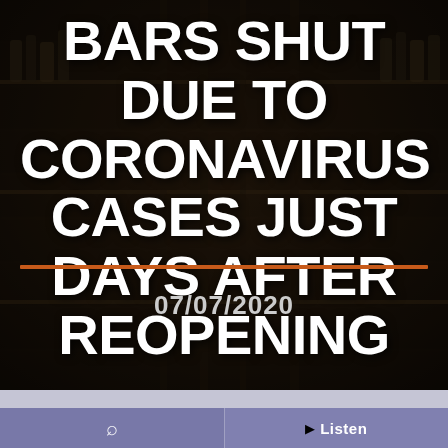[Figure (photo): Dark bar interior with bottles on shelves in the background, heavily shadowed]
BARS SHUT DUE TO CORONAVIRUS CASES JUST DAYS AFTER REOPENING
07/07/2020